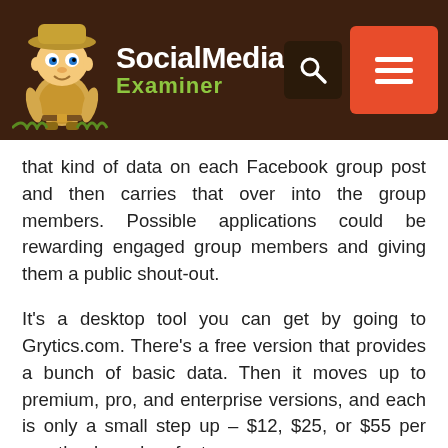[Figure (logo): Social Media Examiner website header with logo (safari explorer character mascot), brand name 'Social Media Examiner', search icon button, and hamburger menu button on dark brown background]
that kind of data on each Facebook group post and then carries that over into the group members. Possible applications could be rewarding engaged group members and giving them a public shout-out.
It’s a desktop tool you can get by going to Grytics.com. There’s a free version that provides a bunch of basic data. Then it moves up to premium, pro, and enterprise versions, and each is only a small step up – $12, $25, or $55 per month – based on features.
#6: Patch